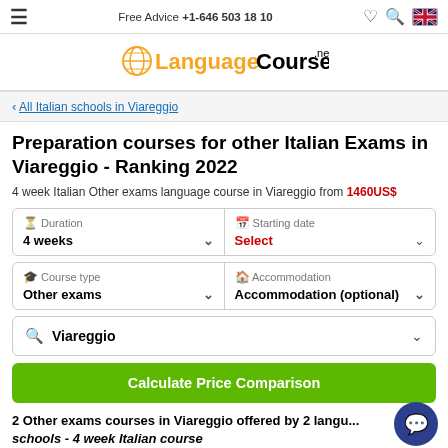≡  Free Advice +1-646 503 18 10  ♡  🔍  🇬🇧
[Figure (logo): LanguageCourse.net logo with globe icon]
< All Italian schools in Viareggio
Preparation courses for other Italian Exams in Viareggio - Ranking 2022
4 week Italian Other exams language course in Viareggio from 1460US$
Duration: 4 weeks | Starting date: Select
Course type: Other exams | Accommodation: Accommodation (optional)
Viareggio
Calculate Price Comparison
2 Other exams courses in Viareggio offered by 2 language schools - 4 week Italian course